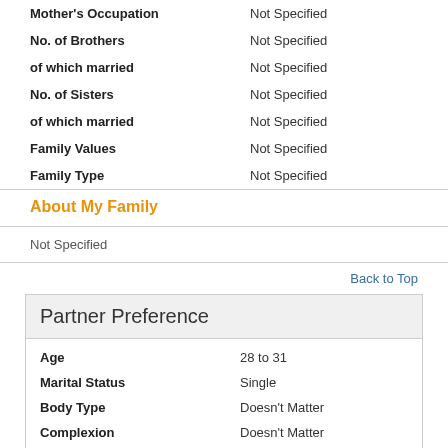Mother's Occupation: Not Specified
No. of Brothers: Not Specified
of which married: Not Specified
No. of Sisters: Not Specified
of which married: Not Specified
Family Values: Not Specified
Family Type: Not Specified
About My Family
Not Specified
Back to Top
Partner Preference
Age: 28 to 31
Marital Status: Single
Body Type: Doesn't Matter
Complexion: Doesn't Matter
Height: 5ft 6in / 167cm to 6ft 2in / 187cm
Diet: Doesn't Matter